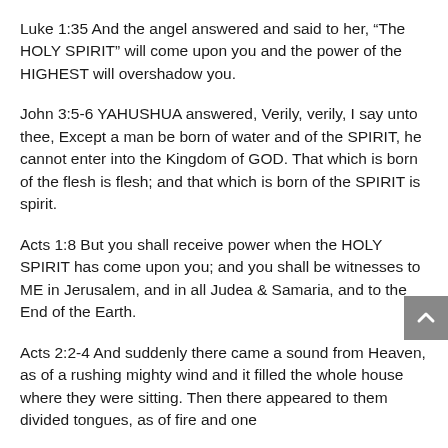Luke 1:35 And the angel answered and said to her, “The HOLY SPIRIT” will come upon you and the power of the HIGHEST will overshadow you.
John 3:5-6 YAHUSHUA answered, Verily, verily, I say unto thee, Except a man be born of water and of the SPIRIT, he cannot enter into the Kingdom of GOD. That which is born of the flesh is flesh; and that which is born of the SPIRIT is spirit.
Acts 1:8 But you shall receive power when the HOLY SPIRIT has come upon you; and you shall be witnesses to ME in Jerusalem, and in all Judea & Samaria, and to the End of the Earth.
Acts 2:2-4 And suddenly there came a sound from Heaven, as of a rushing mighty wind and it filled the whole house where they were sitting. Then there appeared to them divided tongues, as of fire and one...